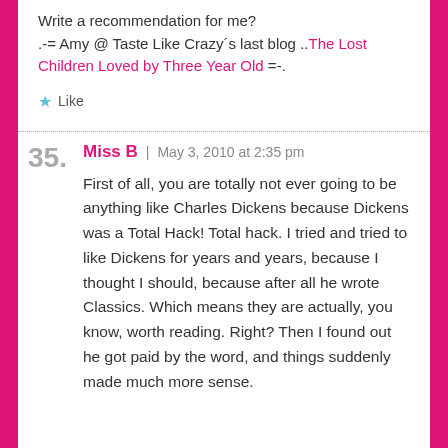Write a recommendation for me? .-= Amy @ Taste Like Crazy's last blog ..The Lost Children Loved by Three Year Old =-.
Like
Miss B | May 3, 2010 at 2:35 pm
First of all, you are totally not ever going to be anything like Charles Dickens because Dickens was a Total Hack! Total hack. I tried and tried to like Dickens for years and years, because I thought I should, because after all he wrote Classics. Which means they are actually, you know, worth reading. Right? Then I found out he got paid by the word, and things suddenly made much more sense.